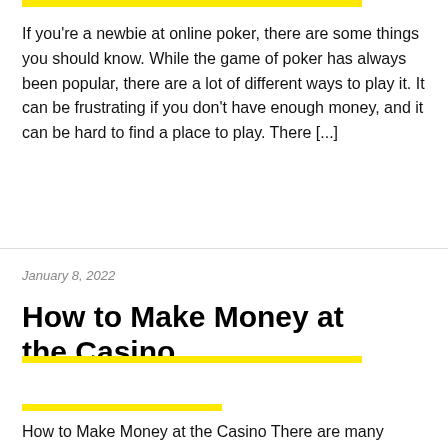If you're a newbie at online poker, there are some things you should know. While the game of poker has always been popular, there are a lot of different ways to play it. It can be frustrating if you don't have enough money, and it can be hard to find a place to play. There [...]
January 8, 2022
How to Make Money at the Casino
How to Make Money at the Casino There are many